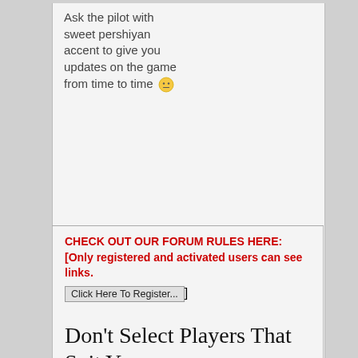Ask the pilot with sweet pershiyan accent to give you updates on the game from time to time 😐
CHECK OUT OUR FORUM RULES HERE: [Only registered and activated users can see links. Click Here To Register...]
Don't Select Players That Suit Your